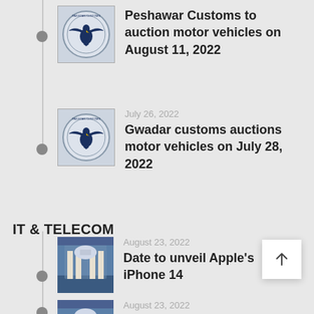Peshawar Customs to auction motor vehicles on August 11, 2022
July 26, 2022 — Gwadar customs auctions motor vehicles on July 28, 2022
IT & TELECOM
August 23, 2022 — Date to unveil Apple's iPhone 14
August 23, 2022 — Apple announces Self Service